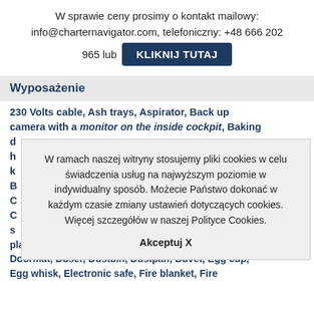W sprawie ceny prosimy o kontakt mailowy: info@charternavigator.com, telefoniczny: +48 666 202 965 lub KLIKNIJ TUTAJ
Wyposażenie
230 Volts cable, Ash trays, Aspirator, Back up camera with a monitor on the inside cockpit, Baking d... h... k... B... C... C... s... plates, Dinner plates , Dish towels, Document case, Doormat, Doser, Dustbin, Dustpan, Duvet, Egg cup, Egg whisk, Electronic safe, Fire blanket, Fire
W ramach naszej witryny stosujemy pliki cookies w celu świadczenia usług na najwyższym poziomie w indywidualny sposób. Możecie Państwo dokonać w każdym czasie zmiany ustawień dotyczących cookies. Więcej szczegółów w naszej Polityce Cookies. Akceptuj X